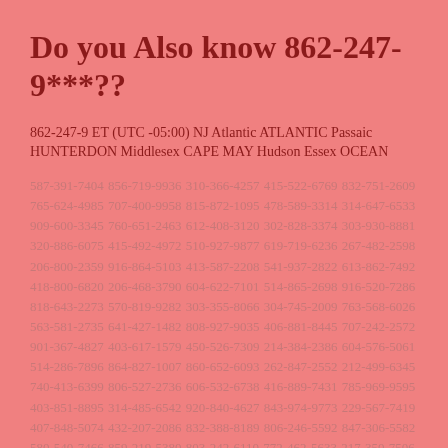Do you Also know 862-247-9***??
862-247-9 ET (UTC -05:00) NJ Atlantic ATLANTIC Passaic HUNTERDON Middlesex CAPE MAY Hudson Essex OCEAN
587-391-7404 856-719-9936 310-366-4257 415-522-6769 832-751-2609 765-624-4985 707-400-9958 815-872-1095 478-589-3314 314-647-6533 909-600-3345 760-651-2463 612-408-3120 302-828-3374 303-930-8881 320-886-6075 415-492-4972 510-927-9877 619-719-6236 267-482-2598 206-800-2359 916-864-5103 413-587-2208 541-937-2822 613-862-7492 418-800-6820 206-468-3790 604-622-7101 514-865-2698 916-520-7286 818-643-2273 570-819-9282 303-355-8066 304-745-2009 763-568-6026 563-581-2735 641-427-1482 808-927-9035 406-881-8445 707-242-2572 901-367-4827 403-617-1579 450-526-7309 214-384-2386 604-576-5061 514-286-7896 864-827-1007 860-652-6093 262-847-2552 212-499-6345 740-413-6399 806-527-2736 606-532-6738 416-889-7431 785-969-9595 403-851-8895 314-485-6542 920-840-4627 843-974-9773 229-567-7419 407-848-5074 432-207-2086 832-388-8189 806-246-5592 847-306-5582 580-540-7466 859-219-5380 803-242-6110 772-462-5633 217-350-7506 404-935-3703 936-706-8361